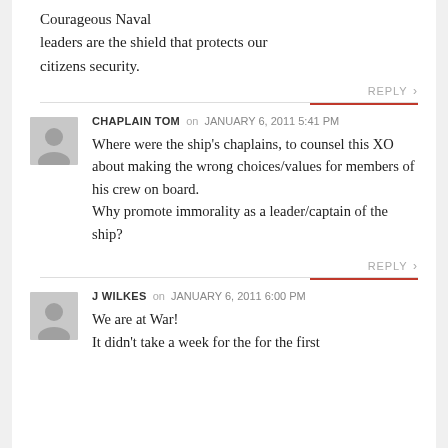Courageous Naval leaders are the shield that protects our citizens security.
REPLY
CHAPLAIN TOM on JANUARY 6, 2011 5:41 PM
Where were the ship’s chaplains, to counsel this XO about making the wrong choices/values for members of his crew on board.
Why promote immorality as a leader/captain of the ship?
REPLY
J WILKES on JANUARY 6, 2011 6:00 PM
We are at War!
It didn’t take a week for the for the first